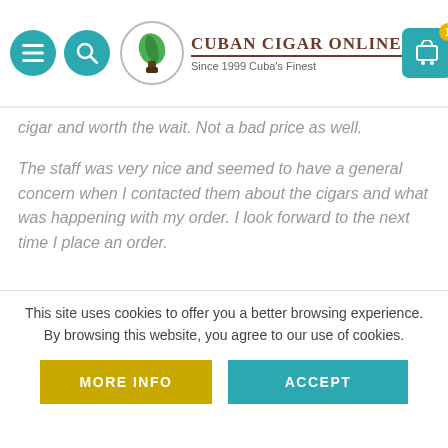[Figure (logo): Cuban Cigar Online logo with green leaf in circular border, text 'CUBAN CIGAR ONLINE Since 1999 Cuba's Finest', navigation icons and cart icon]
cigar and worth the wait. Not a bad price as well.
The staff was very nice and seemed to have a general concern when I contacted them about the cigars and what was happening with my order. I look forward to the next time I place an order.
This site uses cookies to offer you a better browsing experience. By browsing this website, you agree to our use of cookies.